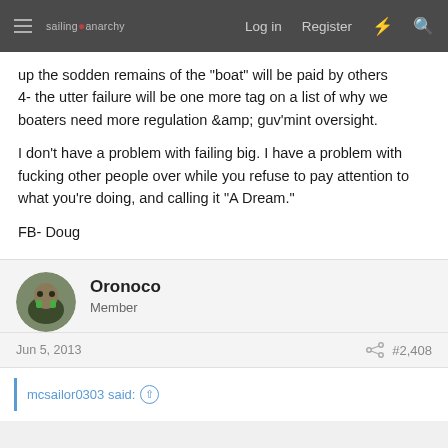sailing anarchy | Log in | Register
up the sodden remains of the "boat" will be paid by others
4- the utter failure will be one more tag on a list of why we boaters need more regulation &amp; guv'mint oversight.

I don't have a problem with failing big. I have a problem with fucking other people over while you refuse to pay attention to what you're doing, and calling it "A Dream."

FB- Doug
Oronoco
Member
Jun 5, 2013
#2,408
mcsailor0303 said: